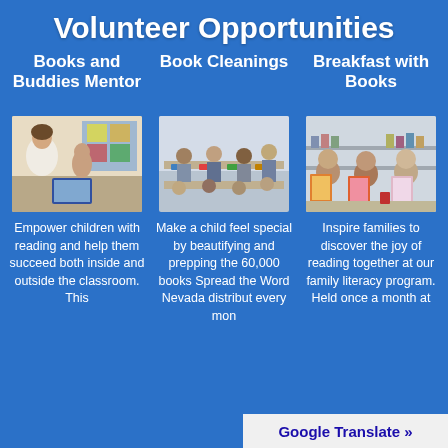Volunteer Opportunities
Books and Buddies Mentor
[Figure (photo): A woman mentor helping a young child with reading on a tablet in a classroom]
Empower children with reading and help them succeed both inside and outside the classroom. This
Book Cleanings
[Figure (photo): Students sitting at tables in a library/classroom setting working on books]
Make a child feel special by beautifying and prepping the 60,000 books Spread the Word Nevada distribut every mon
Breakfast with Books
[Figure (photo): Three children smiling and holding up books in what appears to be a classroom or library]
Inspire families to discover the joy of reading together at our family literacy program. Held once a month at
Google Translate »